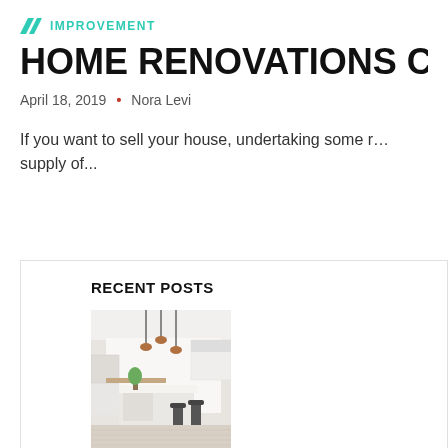IMPROVEMENT
HOME RENOVATIONS COULD M…
April 18, 2019 • Nora Levi
If you want to sell your house, undertaking some r… supply of...
RECENT POSTS
[Figure (photo): Modern white kitchen interior with island, bar stools, pendant lights]
August 12, 2022